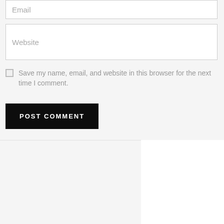Email
Website
Save my name, email, and website in this browser for the next time I comment.
POST COMMENT